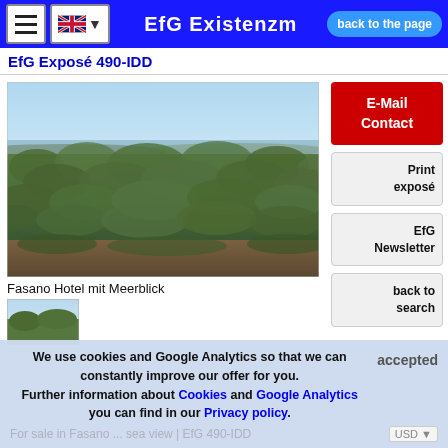EfG Existenzm | back to the page
EfG Exposé 490-IDD
[Figure (photo): Aerial/elevated view of a vast olive grove landscape with sea/horizon visible in the distance under a clear sky — Fasano Hotel mit Meerblick]
Fasano Hotel mit Meerblick
[Figure (photo): Small thumbnail image of a building or landscape scene]
We use cookies and Google Analytics so that we can constantly improve our offer for you. Further information about Cookies and Google Analytics you can find in our Privacy policy.
For sale in Fasano ... sea view | EfG 490-IDD